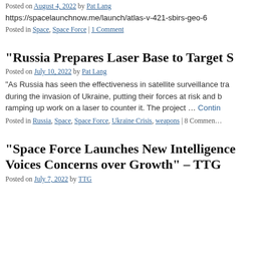Posted on August 4, 2022 by Pat Lang
https://spacelaunchnow.me/launch/atlas-v-421-sbirs-geo-6
Posted in Space, Space Force | 1 Comment
“Russia Prepares Laser Base to Target S…
Posted on July 10, 2022 by Pat Lang
“As Russia has seen the effectiveness in satellite surveillance tra… during the invasion of Ukraine, putting their forces at risk and b… ramping up work on a laser to counter it. The project … Continue…
Posted in Russia, Space, Space Force, Ukraine Crisis, weapons | 8 Commer…
“Space Force Launches New Intelligence… Voices Concerns over Growth” – TTG
Posted on July 7, 2022 by TTG